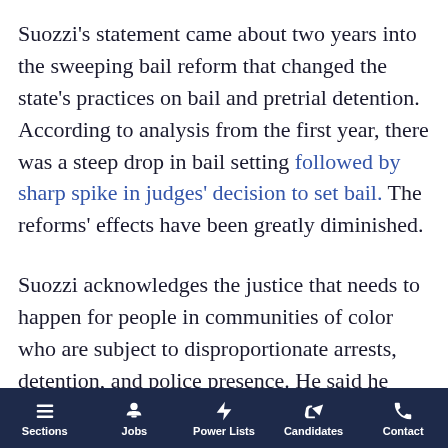Suozzi's statement came about two years into the sweeping bail reform that changed the state's practices on bail and pretrial detention. According to analysis from the first year, there was a steep drop in bail setting followed by sharp spike in judges' decision to set bail. The reforms' effects have been greatly diminished.
Suozzi acknowledges the justice that needs to happen for people in communities of color who are subject to disproportionate arrests, detention, and police presence. He said he wants to put resources in those communities to help with that. As he says in nearly every press
Sections  Jobs  Power Lists  Candidates  Contact